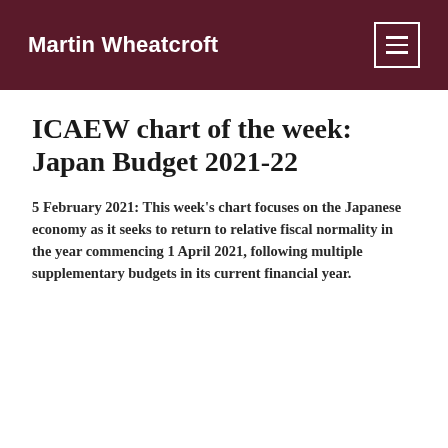Martin Wheatcroft
ICAEW chart of the week: Japan Budget 2021-22
5 February 2021: This week's chart focuses on the Japanese economy as it seeks to return to relative fiscal normality in the year commencing 1 April 2021, following multiple supplementary budgets in its current financial year.